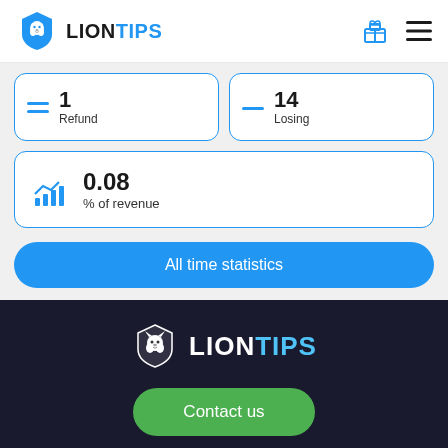LIONTIPS
1 Refund
14 Losing
0.08 % of revenue
All time statistics
[Figure (logo): LionTips logo with lion shield icon and LIONTIPS text in dark background footer]
Contact us